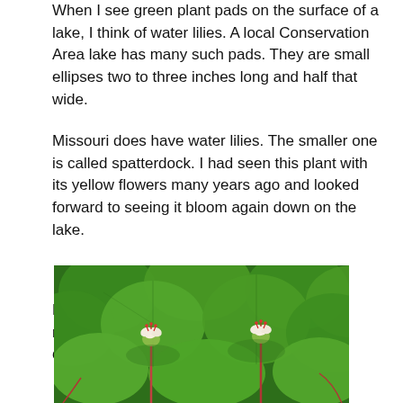When I see green plant pads on the surface of a lake, I think of water lilies. A local Conservation Area lake has many such pads. They are small ellipses two to three inches long and half that wide.
Missouri does have water lilies. The smaller one is called spatterdock. I had seen this plant with its yellow flowers many years ago and looked forward to seeing it bloom again down on the lake.
Buds joined the leaves on the lake. I began making side trips hoping to catch the buds opening up.
[Figure (photo): Close-up photograph of water lily pads (large round green leaves) floating on water, with two small red and white spatterdock flowers visible among the pads.]